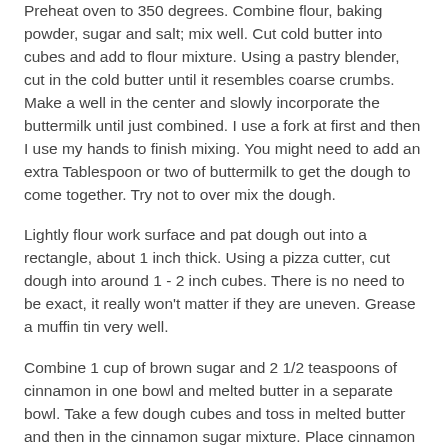Preheat oven to 350 degrees.  Combine flour, baking powder, sugar and salt; mix well.  Cut cold butter into cubes and add to flour mixture.  Using a pastry blender, cut in the cold butter until it resembles coarse crumbs.  Make a well in the center and slowly incorporate the buttermilk until just combined.  I use a fork at first and then I use my hands to finish mixing.  You might need to add an extra Tablespoon or two of buttermilk to get the dough to come together.  Try not to over mix the dough.
Lightly flour work surface and pat dough out into a rectangle, about 1 inch thick.  Using a pizza cutter, cut dough into around 1 - 2 inch cubes.  There is no need to be exact, it really won't matter if they are uneven.  Grease a muffin tin very well.
Combine 1 cup of brown sugar and 2 1/2 teaspoons of cinnamon in one bowl and melted butter in a separate bowl.  Take a few dough cubes and toss in melted butter and then in the cinnamon sugar mixture.  Place cinnamon sugar coated cubes into muffin cups.  Add enough cubes to fill each cup.  Repeat until all dough cubes are gone.  If you